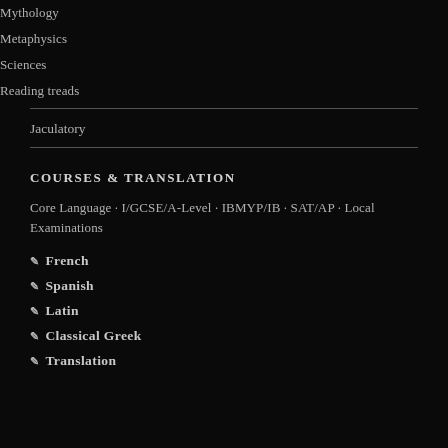Mythology
Metaphysics
Sciences
Reading treads
Jaculatory
COURSES & TRANSLATION
Core Language · I/GCSE/A-Level · IBMYP/IB · SAT/AP · Local Examinations
French
Spanish
Latin
Classical Greek
Translation